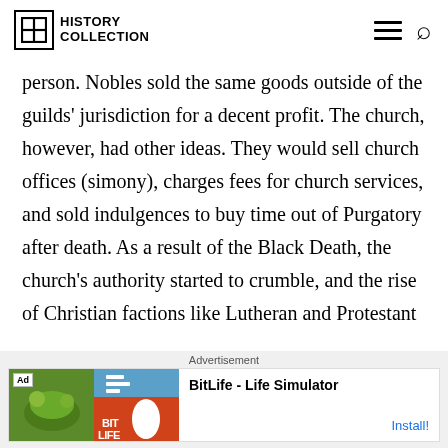History Collection
person. Nobles sold the same goods outside of the guilds' jurisdiction for a decent profit. The church, however, had other ideas. They would sell church offices (simony), charges fees for church services, and sold indulgences to buy time out of Purgatory after death. As a result of the Black Death, the church's authority started to crumble, and the rise of Christian factions like Lutheran and Protestant
[Figure (screenshot): Advertisement banner for BitLife - Life Simulator app with Install button]